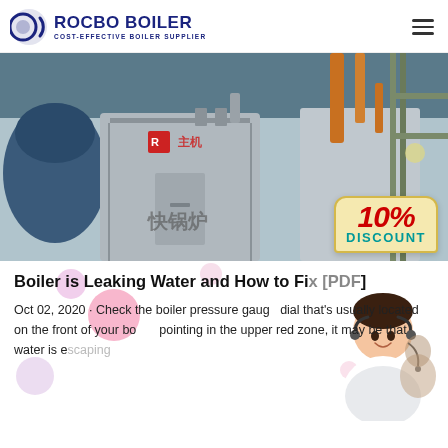ROCBO BOILER – COST-EFFECTIVE BOILER SUPPLIER
[Figure (photo): Industrial boiler room with large metal boiler units, pipes, and a 10% DISCOUNT badge overlay]
Boiler is Leaking Water and How to Fix [PDF]
Oct 02, 2020 · Check the boiler pressure gauge dial that's usually located on the front of your boiler. If the needle is pointing in the upper red zone, it may be that water is escaping because your...